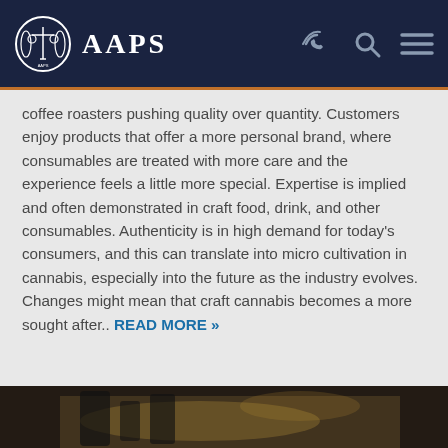AAPS
coffee roasters pushing quality over quantity. Customers enjoy products that offer a more personal brand, where consumables are treated with more care and the experience feels a little more special. Expertise is implied and often demonstrated in craft food, drink, and other consumables. Authenticity is in high demand for today's consumers, and this can translate into micro cultivation in cannabis, especially into the future as the industry evolves. Changes might mean that craft cannabis becomes a more sought after.. READ MORE »
[Figure (photo): Close-up photo of what appears to be legal or craft-related objects on a dark surface, partially visible at bottom of page]